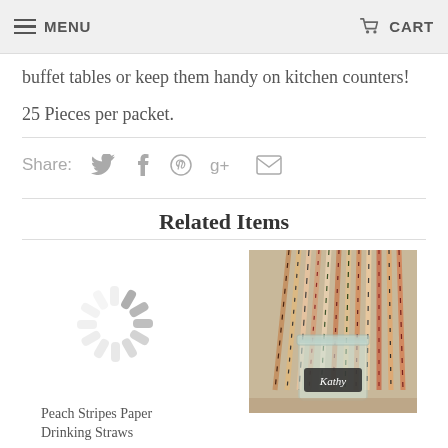MENU | CART
buffet tables or keep them handy on kitchen counters!
25 Pieces per packet.
Share: [twitter] [facebook] [pinterest] [google+] [email]
Related Items
[Figure (other): Loading spinner (grey radial spokes)]
Peach Stripes Paper Drinking Straws
[Figure (photo): Photo of colorful patterned paper drinking straws in a mason jar with a chalkboard label reading 'Kathy']